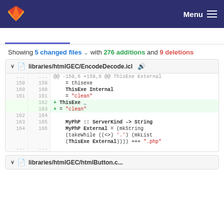GitLab navigation bar with Menu
Showing 5 changed files with 276 additions and 9 deletions
[Figure (screenshot): GitLab diff view showing libraries/htmlGEC/EncodeDecode.icl with code diff including added lines 162-163 with ThisExe _ and = "clean" and context lines]
[Figure (screenshot): Second diff file header partially visible at bottom]